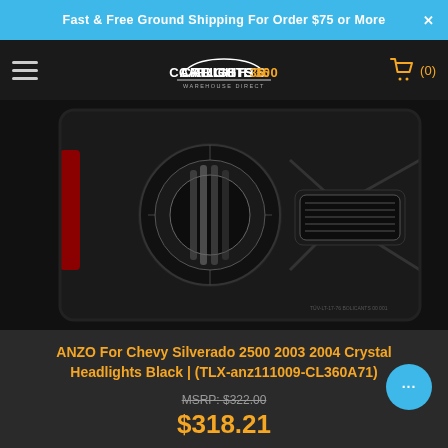Fast & Free Ground Shipping For Order $75 or More
[Figure (logo): CarLights360 Warehouse Direct logo with car silhouette]
[Figure (photo): Close-up photo of ANZO black crystal headlights for Chevy Silverado 2500, showing round projector and rectangular lens in black housing]
ANZO For Chevy Silverado 2500 2003 2004 Crystal Headlights Black | (TLX-anz111009-CL360A71)
MSRP: $322.00
$318.21